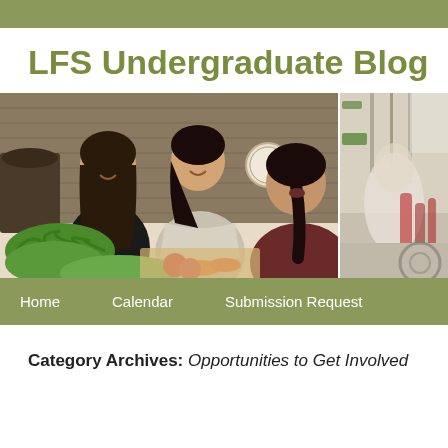LFS Undergraduate Blog
[Figure (photo): Two photos side by side: left photo shows three young women in a kitchen preparing food with vegetables on a counter; right photo shows a partial outdoor/market scene with blurred background.]
Home   Calendar   Submission Request
Category Archives: Opportunities to Get Involved